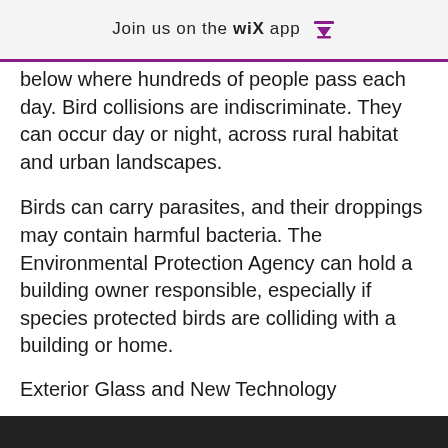Join us on the WiX app ↓
below where hundreds of people pass each day. Bird collisions are indiscriminate. They can occur day or night, across rural habitat and urban landscapes.
Birds can carry parasites, and their droppings may contain harmful bacteria. The Environmental Protection Agency can hold a building owner responsible, especially if species protected birds are colliding with a building or home.
Exterior Glass and New Technology
With regular glass, birds do not recognize if the window is clear, tinted or reflective, and gather in